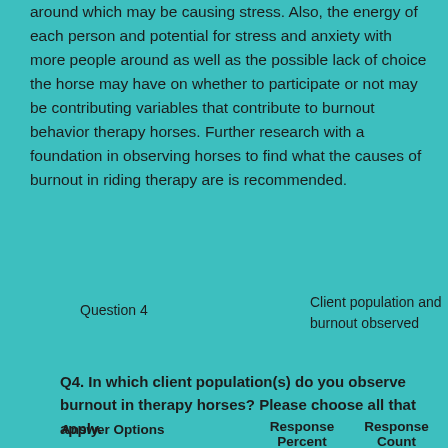around which may be causing stress. Also, the energy of each person and potential for stress and anxiety with more people around as well as the possible lack of choice the horse may have on whether to participate or not may be contributing variables that contribute to burnout behavior therapy horses. Further research with a foundation in observing horses to find what the causes of burnout in riding therapy are is recommended.
Question 4
Client population and burnout observed
Q4. In which client population(s) do you observe burnout in therapy horses? Please choose all that apply.
| Answer Options | Response Percent | Response Count |
| --- | --- | --- |